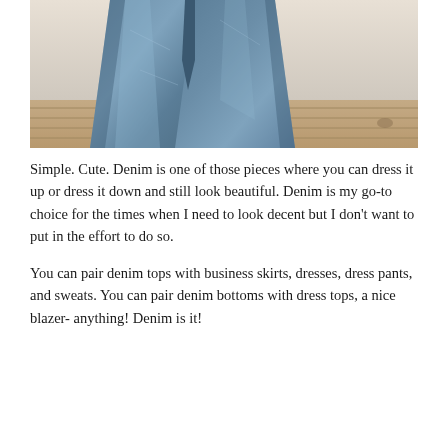[Figure (photo): Close-up photo of a person's lower body wearing blue denim jeans, standing on a wooden floor against a light-colored wall. The jeans are medium wash with a straight/flared leg silhouette.]
Simple. Cute. Denim is one of those pieces where you can dress it up or dress it down and still look beautiful. Denim is my go-to choice for the times when I need to look decent but I don't want to put in the effort to do so.
You can pair denim tops with business skirts, dresses, dress pants, and sweats. You can pair denim bottoms with dress tops, a nice blazer- anything! Denim is it!